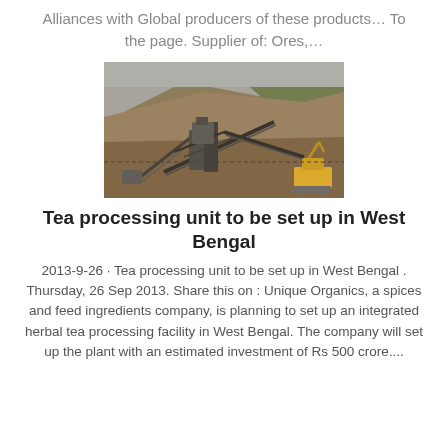Alliances with Global producers of these products… To the page. Supplier of: Ores,…
[Figure (photo): Aerial view of an open-pit mining operation with heavy machinery, conveyor belts, and excavators on a rocky hillside.]
Tea processing unit to be set up in West Bengal
2013-9-26 · Tea processing unit to be set up in West Bengal . Thursday, 26 Sep 2013. Share this on : Unique Organics, a spices and feed ingredients company, is planning to set up an integrated herbal tea processing facility in West Bengal. The company will set up the plant with an estimated investment of Rs 500 crore....